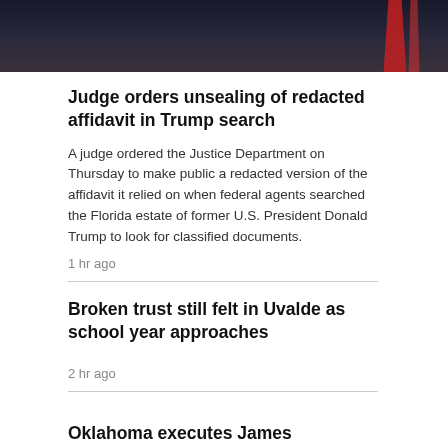[Figure (photo): Partial photo of a person in a dark suit with a red tie against a dark background]
Judge orders unsealing of redacted affidavit in Trump search
A judge ordered the Justice Department on Thursday to make public a redacted version of the affidavit it relied on when federal agents searched the Florida estate of former U.S. President Donald Trump to look for classified documents.
1 hr ago
Broken trust still felt in Uvalde as school year approaches
2 hr ago
Oklahoma executes James Coddington for 1997 hammer killing
9 hr ago